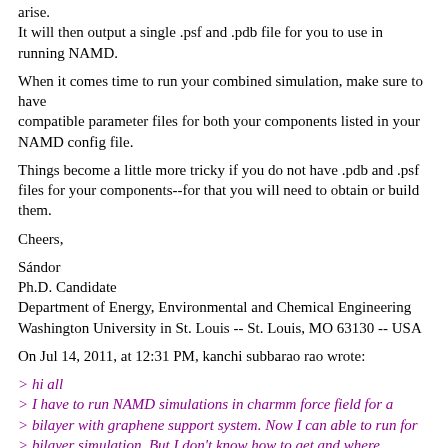arise.
It will then output a single .psf and .pdb file for you to use in running NAMD.
When it comes time to run your combined simulation, make sure to have compatible parameter files for both your components listed in your NAMD config file.
Things become a little more tricky if you do not have .pdb and .psf files for your components--for that you will need to obtain or build them.
Cheers,
Sándor
Ph.D. Candidate
Department of Energy, Environmental and Chemical Engineering
Washington University in St. Louis -- St. Louis, MO 63130 -- USA
On Jul 14, 2011, at 12:31 PM, kanchi subbarao rao wrote:
> hi all
> I have to run NAMD simulations in charmm force field for a
> bilayer with graphene support system. Now I can able to run for
> bilayer simulation. But I don't know how to get and where